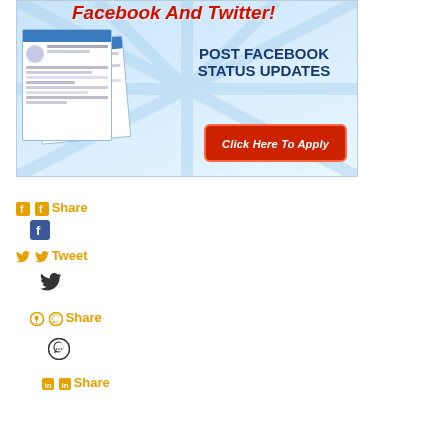[Figure (illustration): Promotional banner advertising a Facebook and Twitter social media job. Shows 'Facebook And Twitter!' in red italic bold text at top, Facebook profile page screenshots on left, 'POST FACEBOOK STATUS UPDATES' in dark blue bold text, and a red 'Click Here To Apply' button. Blue ray burst background.]
ff Share
f
Tweet
(twitter bird)
Share
(whatsapp icon)
in in Share